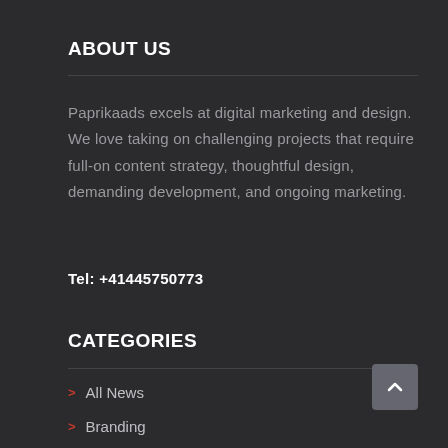ABOUT US
Paprikaads excels at digital marketing and design. We love taking on challenging projects that require full-on content strategy, thoughtful design, demanding development, and ongoing marketing.
Tel: +41445750773
CATEGORIES
All News
Branding